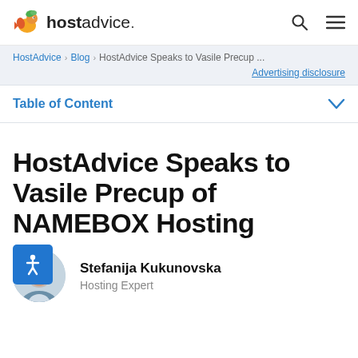hostadvice.
HostAdvice > Blog > HostAdvice Speaks to Vasile Precup ...
Advertising disclosure
Table of Content
HostAdvice Speaks to Vasile Precup of NAMEBOX Hosting
Stefanija Kukunovska
Hosting Expert